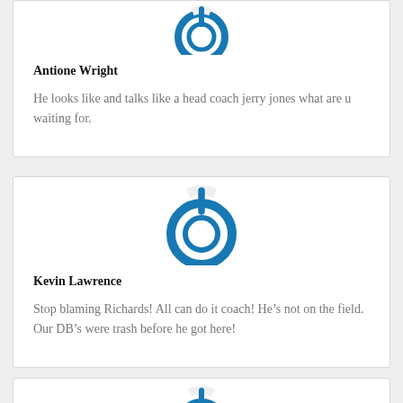[Figure (logo): Blue circular power button icon, partially visible at top of page]
Antione Wright
He looks like and talks like a head coach jerry jones what are u waiting for.
[Figure (logo): Blue circular power button icon]
Kevin Lawrence
Stop blaming Richards! All can do it coach! He’s not on the field. Our DB’s were trash before he got here!
[Figure (logo): Blue circular power button icon, partially visible at bottom]